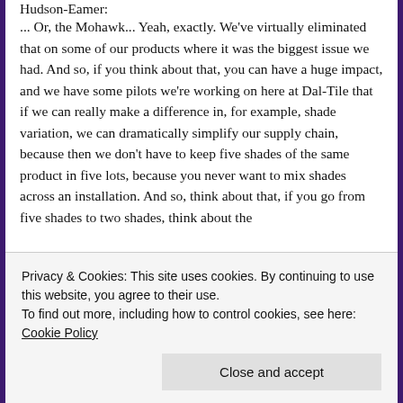Hudson-Eamer:
... Or, the Mohawk... Yeah, exactly. We've virtually eliminated that on some of our products where it was the biggest issue we had. And so, if you think about that, you can have a huge impact, and we have some pilots we're working on here at Dal-Tile that if we can really make a difference in, for example, shade variation, we can dramatically simplify our supply chain, because then we don't have to keep five shades of the same product in five lots, because you never want to mix shades across an installation. And so, think about that, if you go from five shades to two shades, think about the
Privacy & Cookies: This site uses cookies. By continuing to use this website, you agree to their use.
To find out more, including how to control cookies, see here: Cookie Policy